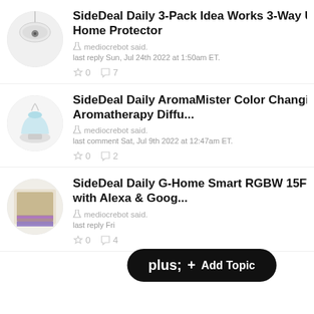SideDeal Daily 3-Pack Idea Works 3-Way U Home Protector — mediocrebot said. last reply Sun, Jul 24th 2022 at 1:50am ET. ☆0 💬7
SideDeal Daily AromaMister Color Changing Aromatherapy Diffu... — mediocrebot said. last comment Sat, Jul 9th 2022 at 12:47am ET. ☆0 💬2
SideDeal Daily G-Home Smart RGBW 15FT with Alexa & Goog... — mediocrebot said. last reply Fri... ☆0 💬4